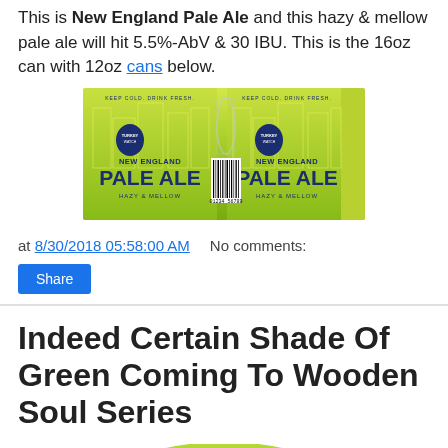This is New England Pale Ale and this hazy & mellow pale ale will hit 5.5%-AbV & 30 IBU. This is the 16oz can with 12oz cans below.
[Figure (photo): New England Pale Ale can label showing two panels with green/yellow gradient background and dark blue text reading PALE ALE and NEW ENGLAND, with barcode visible in the center]
at 8/30/2018 05:58:00 AM   No comments:
Share
Indeed Certain Shade Of Green Coming To Wooden Soul Series
[Figure (photo): Indeed Brewing Company label with green arch design, brown wooden panel elements, and circular Indeed Brewing Company logo]